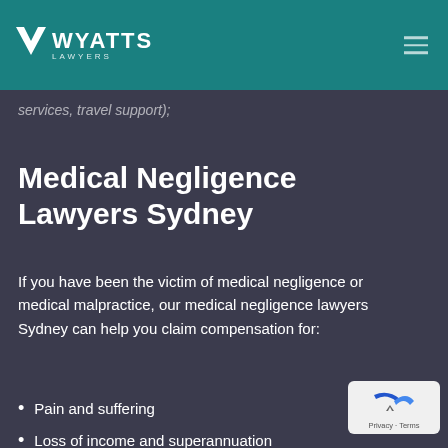WYATTS LAWYERS
services, travel support);
Medical Negligence Lawyers Sydney
If you have been the victim of medical negligence or medical malpractice, our medical negligence lawyers Sydney can help you claim compensation for:
Pain and suffering
Loss of income and superannuation